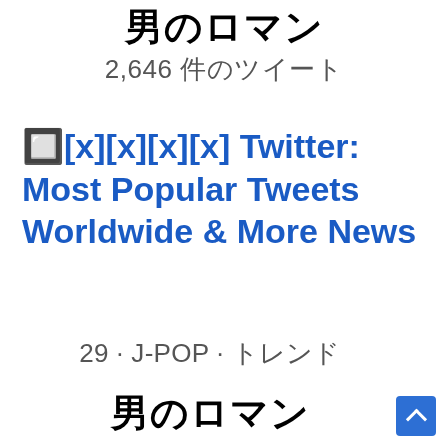男のロマン
2,646 件のツイート
🔲[x][x][x][x] Twitter: Most Popular Tweets Worldwide & More News
29 · J-POP · トレンド
男のロマン